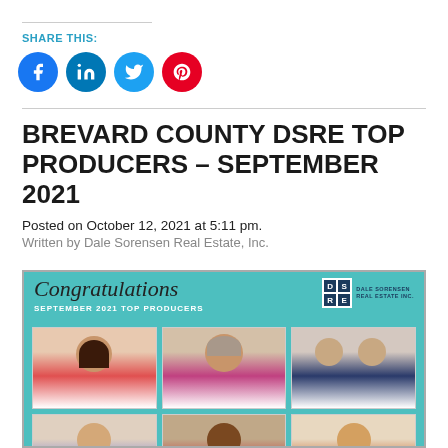SHARE THIS:
[Figure (infographic): Social media share buttons: Facebook, LinkedIn, Twitter, Pinterest]
BREVARD COUNTY DSRE TOP PRODUCERS – SEPTEMBER 2021
Posted on October 12, 2021 at 5:11 pm.
Written by Dale Sorensen Real Estate, Inc.
[Figure (photo): Congratulations September 2021 Top Producers graphic with teal background and six headshot photos of top producers, including Dale Sorensen Real Estate Inc. logo]